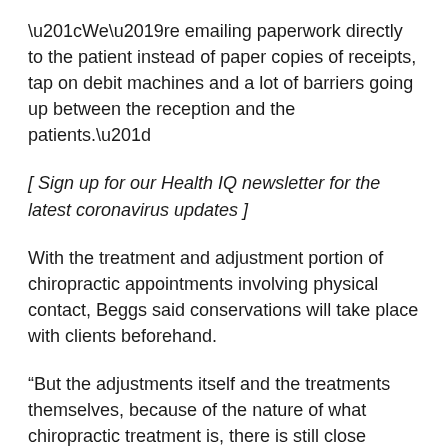“We’re emailing paperwork directly to the patient instead of paper copies of receipts, tap on debit machines and a lot of barriers going up between the reception and the patients.”
[ Sign up for our Health IQ newsletter for the latest coronavirus updates ]
With the treatment and adjustment portion of chiropractic appointments involving physical contact, Beggs said conservations will take place with clients beforehand.
“But the adjustments itself and the treatments themselves, because of the nature of what chiropractic treatment is, there is still close contact with patients.”
According to Saskatchewan’s plan, medical services staff